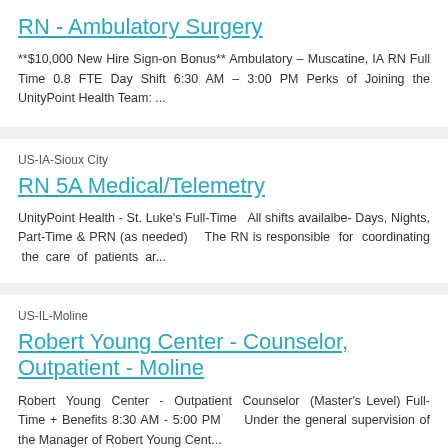RN - Ambulatory Surgery
**$10,000 New Hire Sign-on Bonus**    Ambulatory – Muscatine, IA RN Full Time 0.8 FTE Day Shift 6:30 AM – 3:00 PM   Perks of Joining the UnityPoint Health Team: ...
US-IA-Sioux City
RN 5A Medical/Telemetry
UnityPoint Health - St. Luke's Full-Time  All shifts availalbe- Days, Nights, Part-Time & PRN (as needed)   The RN is responsible for coordinating the care of patients ar...
US-IL-Moline
Robert Young Center - Counselor, Outpatient - Moline
Robert Young Center - Outpatient Counselor (Master's Level) Full-Time + Benefits 8:30 AM - 5:00 PM     Under the general supervision of the Manager of Robert Young Cent...